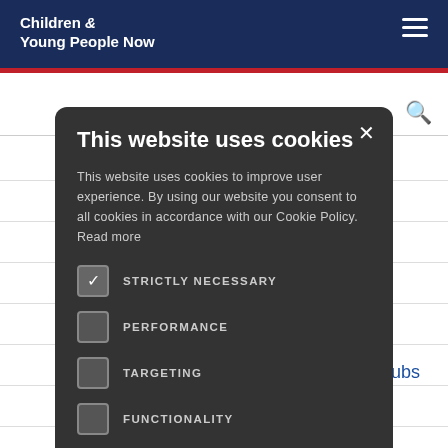Children & Young People Now
This website uses cookies
This website uses cookies to improve user experience. By using our website you consent to all cookies in accordance with our Cookie Policy. Read more
STRICTLY NECESSARY (checked)
PERFORMANCE
TARGETING
FUNCTIONALITY
UNCLASSIFIED
ACCEPT ALL
DECLINE ALL
SHOW DETAILS